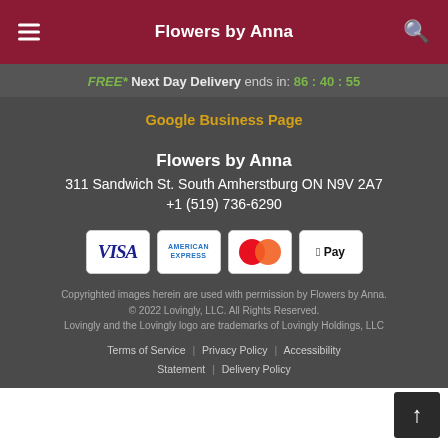Flowers by Anna
FREE* Next Day Delivery ends in: 86 : 40 : 55
Google Business Page
Flowers by Anna
311 Sandwich St. South Amherstburg ON N9V 2A7
+1 (519) 736-6290
[Figure (other): Payment method icons: VISA, American Express, Mastercard, Apple Pay]
Copyrighted images herein are used with permission by Flowers by Anna.
© 2022 Lovingly, LLC. All Rights Reserved.
Lovingly and the Lovingly logo are trademarks of Lovingly Holdings, LLC
Terms of Service | Privacy Policy | Accessibility Statement | Delivery Policy